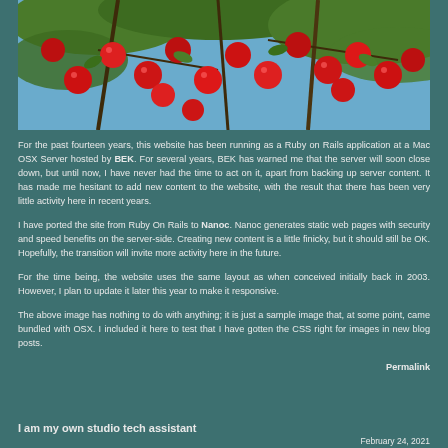[Figure (photo): Close-up photo of red cherries hanging on tree branches with green leaves against a blue sky background]
For the past fourteen years, this website has been running as a Ruby on Rails application at a Mac OSX Server hosted by BEK. For several years, BEK has warned me that the server will soon close down, but until now, I have never had the time to act on it, apart from backing up server content. It has made me hesitant to add new content to the website, with the result that there has been very little activity here in recent years.
I have ported the site from Ruby On Rails to Nanoc. Nanoc generates static web pages with security and speed benefits on the server-side. Creating new content is a little finicky, but it should still be OK. Hopefully, the transition will invite more activity here in the future.
For the time being, the website uses the same layout as when conceived initially back in 2003. However, I plan to update it later this year to make it responsive.
The above image has nothing to do with anything; it is just a sample image that, at some point, came bundled with OSX. I included it here to test that I have gotten the CSS right for images in new blog posts.
Permalink
I am my own studio tech assistant
February 24, 2021